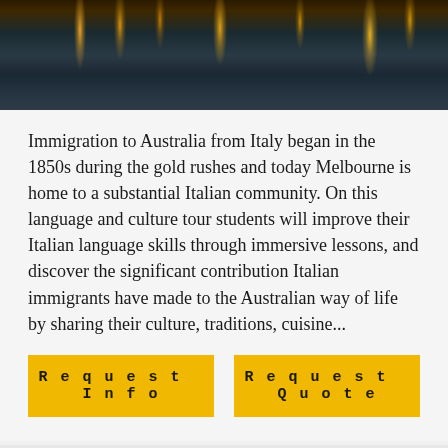[Figure (photo): Nighttime waterfront photo showing reflections of lights on water, dark tones with orange/yellow light reflections]
Immigration to Australia from Italy began in the 1850s during the gold rushes and today Melbourne is home to a substantial Italian community. On this language and culture tour students will improve their Italian language skills through immersive lessons, and discover the significant contribution Italian immigrants have made to the Australian way of life by sharing their culture, traditions, cuisine...
Request Info
Request Quote
Share itinerary